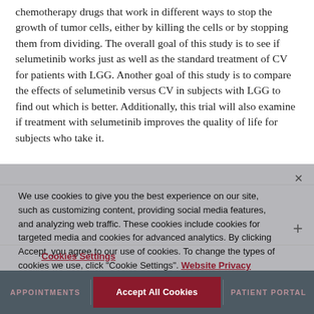chemotherapy drugs that work in different ways to stop the growth of tumor cells, either by killing the cells or by stopping them from dividing. The overall goal of this study is to see if selumetinib works just as well as the standard treatment of CV for patients with LGG. Another goal of this study is to compare the effects of selumetinib versus CV in subjects with LGG to find out which is better. Additionally, this trial will also examine if treatment with selumetinib improves the quality of life for subjects who take it.
We use cookies to give you the best experience on our site, such as customizing content, providing social media features, and analyzing web traffic. These cookies include cookies for targeted media and cookies for advanced analytics. By clicking Accept, you agree to our use of cookies. To change the types of cookies we use, click "Cookie Settings". Website Privacy Policy At UChicago Medicine
Cookies Settings
Accept All Cookies
APPOINTMENTS | PATIENT PORTAL